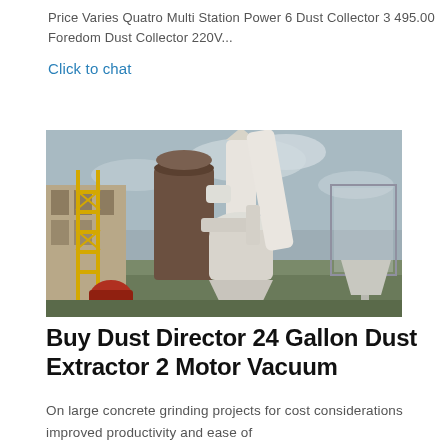Price Varies Quatro Multi Station Power 6 Dust Collector 3 495.00 Foredom Dust Collector 220V...
Click to chat
[Figure (photo): Industrial dust collector equipment with large cylindrical silos, white pipes and conveyors, scaffolding, and hoppers at an outdoor industrial facility under cloudy sky.]
Buy Dust Director 24 Gallon Dust Extractor 2 Motor Vacuum
On large concrete grinding projects for cost considerations improved productivity and ease of